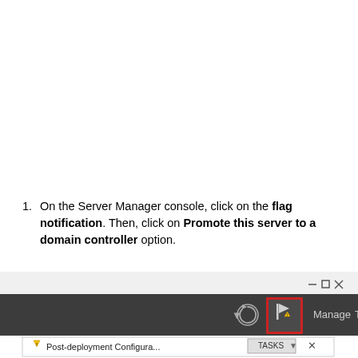On the Server Manager console, click on the flag notification. Then, click on Promote this server to a domain controller option.
[Figure (screenshot): Screenshot of Windows Server Manager toolbar showing a flag icon with a warning badge highlighted in a red rectangle, along with Manage, Tools, View, and Help menu items. Below the toolbar is a notification panel showing 'Post-deployment Configura...' with a TASKS button and close button.]